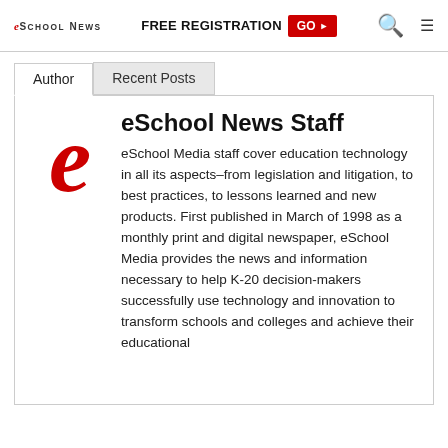eSchool News  FREE REGISTRATION  GO ▶
eSchool News Staff
eSchool Media staff cover education technology in all its aspects–from legislation and litigation, to best practices, to lessons learned and new products. First published in March of 1998 as a monthly print and digital newspaper, eSchool Media provides the news and information necessary to help K-20 decision-makers successfully use technology and innovation to transform schools and colleges and achieve their educational